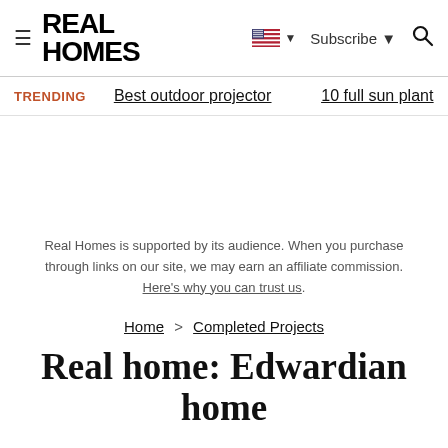REAL HOMES
TRENDING   Best outdoor projector   10 full sun plant
Real Homes is supported by its audience. When you purchase through links on our site, we may earn an affiliate commission. Here's why you can trust us.
Home > Completed Projects
Real home: Edwardian home